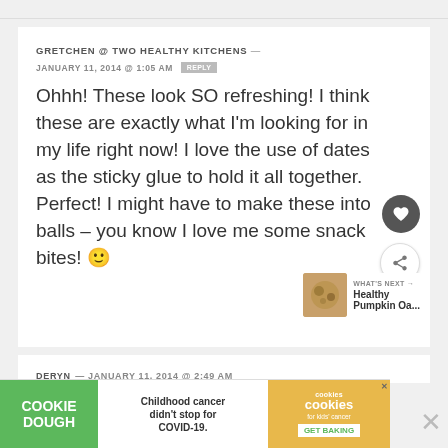GRETCHEN @ TWO HEALTHY KITCHENS —
JANUARY 11, 2014 @ 1:05 AM  REPLY
Ohhh! These look SO refreshing! I think these are exactly what I'm looking for in my life right now! I love the use of dates as the sticky glue to hold it all together. Perfect! I might have to make these into balls – you know I love me some snack bites! 🙂
WHAT'S NEXT → Healthy Pumpkin Oa...
DERYN — JANUARY 11, 2014 @ 2:49 AM
[Figure (infographic): Cookie Dough advertisement banner: Childhood cancer didn't stop for COVID-19. GET BAKING.]